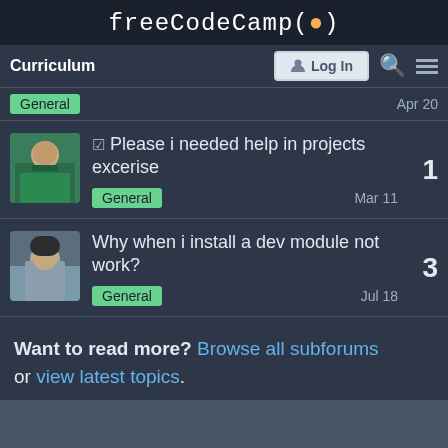freeCodeCamp(🔥)
Curriculum | Log In
General  Apr 20
☑ Please i needed help in projects excerise — General — Mar 11 — replies: 1
Why when i install a dev module not work? — General — Jul 18 — replies: 3
Want to read more? Browse all subforums or view latest topics.